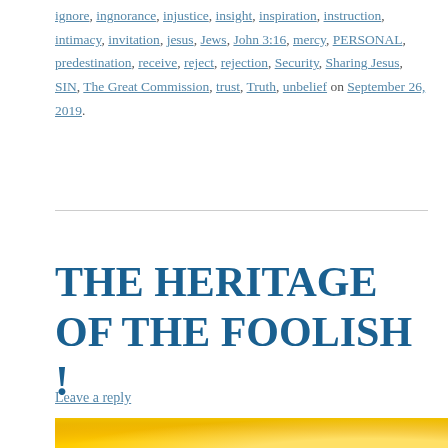ignore, ingnorance, injustice, insight, inspiration, instruction, intimacy, invitation, jesus, Jews, John 3:16, mercy, PERSONAL, predestination, receive, reject, rejection, Security, Sharing Jesus, SIN, The Great Commission, trust, Truth, unbelief on September 26, 2019.
THE HERITAGE OF THE FOOLISH !
Leave a reply
[Figure (photo): Bright golden yellow light rays bursting through clouds, warm glowing background.]